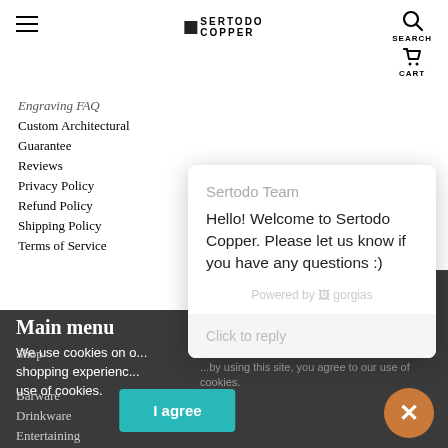[Figure (screenshot): Website header with hamburger menu icon, Sertodo Copper logo in center, search icon and cart icon on the right]
Engraving FAQ
Custom Architectural
Guarantee
Reviews
Privacy Policy
Refund Policy
Shipping Policy
Terms of Service
Main menu
We use cookies on o... shopping experienc... use of cookies.
Shop
Barware
Drinkware
Entertaining
Engraving
[Figure (screenshot): Chat popup from Sertodo Team saying: Hello! Welcome to Sertodo Copper. Please let us know if you have any questions :) Powered by gorgias. Click to reply input bar.]
[Figure (other): Get $5 vertical tab on right side]
[Figure (other): Orange circular close button with X]
I agree